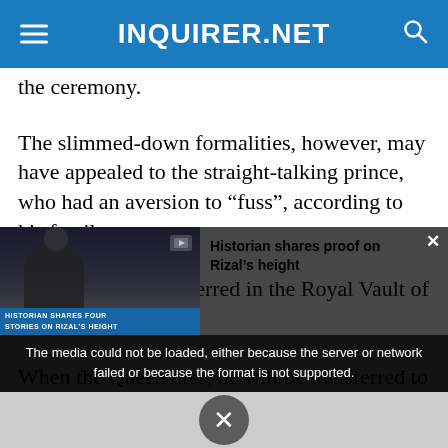INQUIRER.NET
the ceremony.
The slimmed-down formalities, however, may have appealed to the straight-talking prince, who had an aversion to “fuss”, according to his family.
The duke will be interred in the Royal Vault of St George’s Chapel.
When the Queen dies, he will be transferred to lie alongside her in the King George VI memorial
[Figure (screenshot): Video player overlay showing error message: 'The media could not be loaded, either because the server or network failed or because the format is not supported.' with a video thumbnail showing a person, captioned 'Historian shares proof on Rizal’s height'. A close X button visible at bottom.]